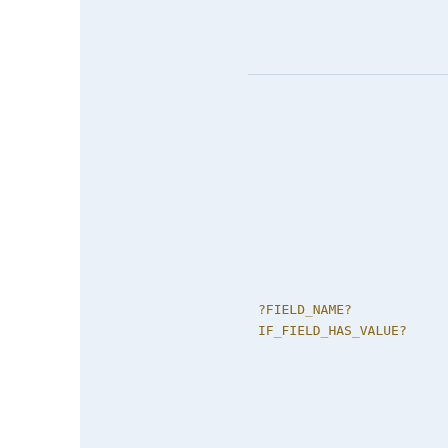?FIELD_NAME?
IF_FIELD_HAS_VALUE?